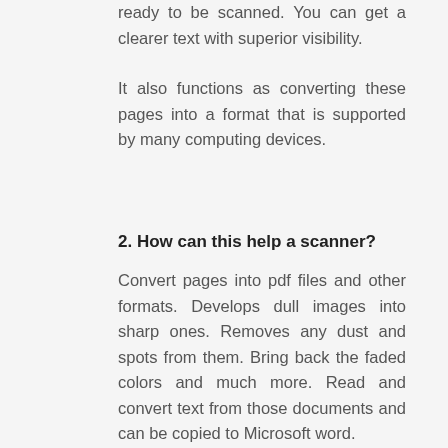ready to be scanned. You can get a clearer text with superior visibility.
It also functions as converting these pages into a format that is supported by many computing devices.
2. How can this help a scanner?
Convert pages into pdf files and other formats. Develops dull images into sharp ones. Removes any dust and spots from them. Bring back the faded colors and much more. Read and convert text from those documents and can be copied to Microsoft word.
That is how sharp its quality of service is.